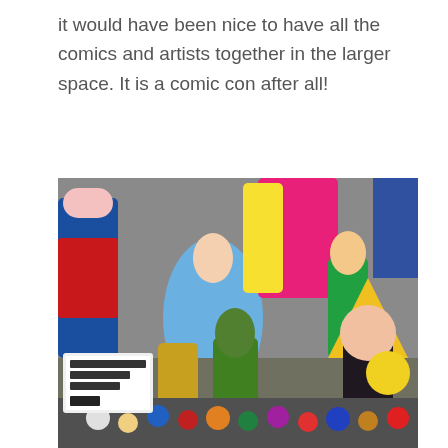it would have been nice to have all the comics and artists together in the larger space. It is a comic con after all!
[Figure (photo): A colorful collection of superhero and pop culture action figures and toys displayed on a table at a comic convention, including Wonder Woman, Cinderella, Aquaman, Hulk, Funko Pop figures, and many small figurines with price tags visible.]